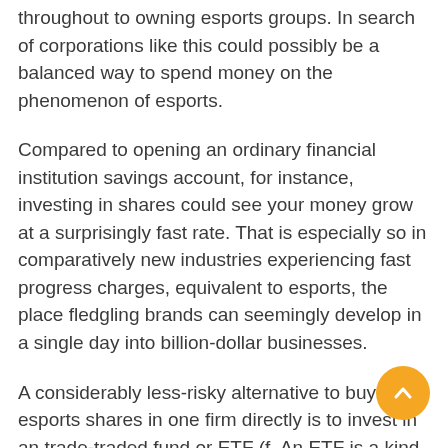throughout to owning esports groups. In search of corporations like this could possibly be a balanced way to spend money on the phenomenon of esports.
Compared to opening an ordinary financial institution savings account, for instance, investing in shares could see your money grow at a surprisingly fast rate. That is especially so in comparatively new industries experiencing fast progress charges, equivalent to esports, the place fledgling brands can seemingly develop in a single day into billion-dollar businesses.
A considerably less-risky alternative to buying esports shares in one firm directly is to invest in an trade-traded fund or ETF (f. An ETF is a kind of safety in the stores like a share, but which tracks an